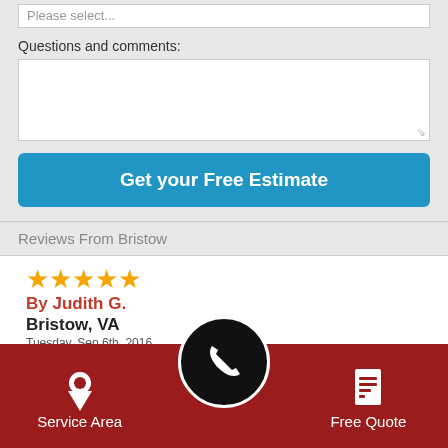Please select...
Questions and comments:
Get your Free Estimate
Reviews From Bristow
★★★★★ By Judith G. Bristow, VA Tuesday, Sep 6th, 2016 "You all did an Excellent Job, Thank you so much!"
View Detail
See All Reviews
Service Area  [phone]  Free Quote